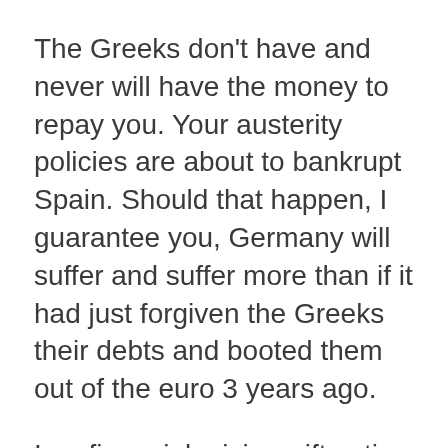The Greeks don't have and never will have the money to repay you. Your austerity policies are about to bankrupt Spain. Should that happen, I guarantee you, Germany will suffer and suffer more than if it had just forgiven the Greeks their debts and booted them out of the euro 3 years ago.
In a financial crisis swift action beats moral rectitude every time. First fix the problem; then place the blame.
Germany isn't invulnerable. You've got a national debt of around 80% GDP; your banks